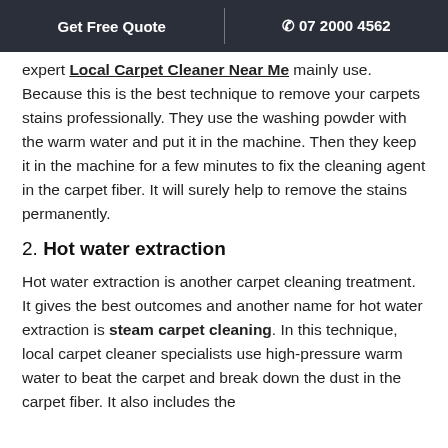Get Free Quote   |   07 2000 4562
expert Local Carpet Cleaner Near Me mainly use. Because this is the best technique to remove your carpets stains professionally. They use the washing powder with the warm water and put it in the machine. Then they keep it in the machine for a few minutes to fix the cleaning agent in the carpet fiber. It will surely help to remove the stains permanently.
2. Hot water extraction
Hot water extraction is another carpet cleaning treatment. It gives the best outcomes and another name for hot water extraction is steam carpet cleaning. In this technique, local carpet cleaner specialists use high-pressure warm water to beat the carpet and break down the dust in the carpet fiber. It also includes the